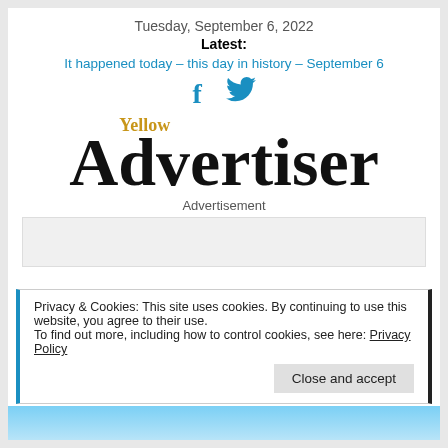Tuesday, September 6, 2022
Latest:
It happened today – this day in history – September 6
[Figure (logo): Social media icons: Facebook (f) and Twitter bird icon in blue]
[Figure (logo): Yellow Advertiser newspaper logo — 'Yellow' in gold serif above 'Advertiser' in large black serif]
Advertisement
[Figure (other): Grey advertisement placeholder box]
Privacy & Cookies: This site uses cookies. By continuing to use this website, you agree to their use.
To find out more, including how to control cookies, see here: Privacy Policy
Close and accept
[Figure (photo): Blue sky image strip at the bottom of the page]